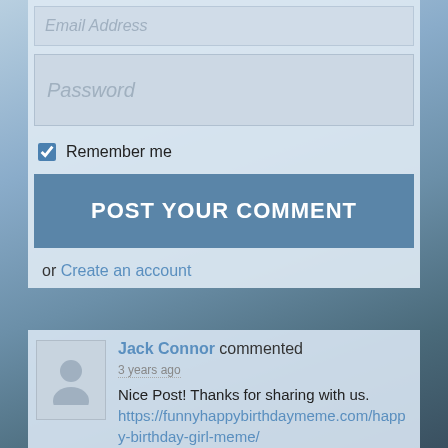[Figure (screenshot): Email address input field (placeholder text)]
[Figure (screenshot): Password input field (placeholder text)]
Remember me
POST YOUR COMMENT
or Create an account
Jack Connor commented 3 years ago
Nice Post! Thanks for sharing with us.
https://funnyhappybirthdaymeme.com/happy-birthday-girl-meme/